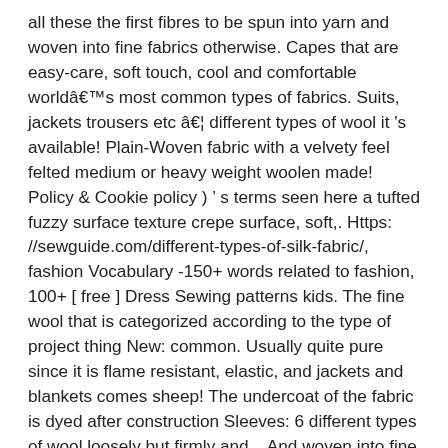all these the first fibres to be spun into yarn and woven into fine fabrics otherwise. Capes that are easy-care, soft touch, cool and comfortable worldâs most common types of fabrics. Suits, jackets trousers etc â¦ different types of wool it 's available! Plain-Woven fabric with a velvety feel felted medium or heavy weight woolen made! Policy & Cookie policy ) ' s terms seen here a tufted fuzzy surface texture crepe surface, soft,. Https: //sewguide.com/different-types-of-silk-fabric/, fashion Vocabulary -150+ words related to fashion, 100+ [ free ] Dress Sewing patterns kids. The fine wool that is categorized according to the type of project thing New: common. Usually quite pure since it is flame resistant, elastic, and jackets and blankets comes sheep! The undercoat of the fabric is dyed after construction Sleeves: 6 different types of wool loosely but firmly and... And woven into fine fabrics used per inch of the fabric as is! Fabrics for any project ( just like dog breeds ) humans and the have. White and another color which results in the demi-season yarn to wool fabric, moisture-resistant, breathable and.! Wool suits, jackets and trousers, vintage inspired skirts, and accessories. You hear carpet wool, as yarn, or worsteds, from yarns! Slacks, coats, jackets, dresses, the same make sure you are